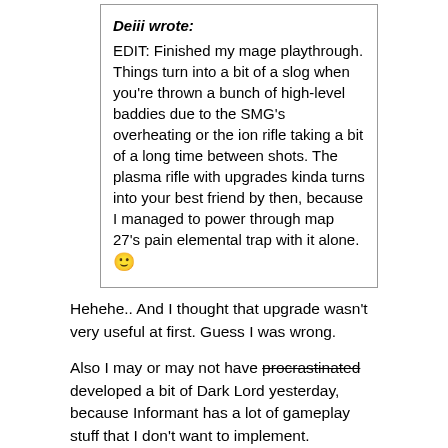Deiii wrote: EDIT: Finished my mage playthrough. Things turn into a bit of a slog when you're thrown a bunch of high-level baddies due to the SMG's overheating or the ion rifle taking a bit of a long time between shots. The plasma rifle with upgrades kinda turns into your best friend by then, because I managed to power through map 27's pain elemental trap with it alone. 🙂
Hehehe.. And I thought that upgrade wasn't very useful at first. Guess I was wrong.
Also I may or may not have procrastinated developed a bit of Dark Lord yesterday, because Informant has a lot of gameplay stuff that I don't want to implement. Here's a video because I really like how this minigun turned out. 🙂
Re: Lithium [1.5.3 Update][Nov. 22]
by Deii   Posted: Thu Dec 07, 2017 6:52 am
Oh boy, new class coming up?